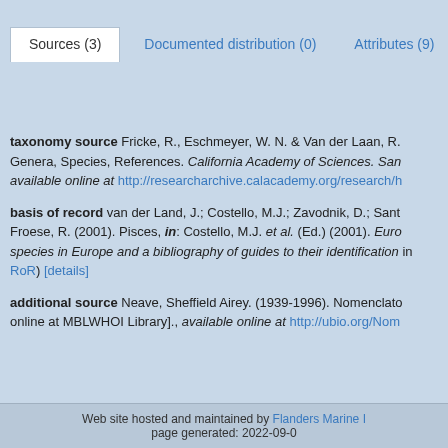Sources (3) | Documented distribution (0) | Attributes (9)
taxonomy source Fricke, R., Eschmeyer, W. N. & Van der Laan, R. Genera, Species, References. California Academy of Sciences. San available online at http://researcharchive.calacademy.org/research/h
basis of record van der Land, J.; Costello, M.J.; Zavodnik, D.; Sant Froese, R. (2001). Pisces, in: Costello, M.J. et al. (Ed.) (2001). Euro species in Europe and a bibliography of guides to their identification in RoR) [details]
additional source Neave, Sheffield Airey. (1939-1996). Nomenclato online at MBLWHOI Library]., available online at http://ubio.org/Nom
Web site hosted and maintained by Flanders Marine I page generated: 2022-09-0